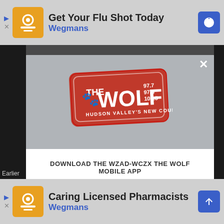[Figure (screenshot): Top advertisement banner: Wegmans 'Get Your Flu Shot Today' ad with orange logo icon]
[Figure (logo): The Wolf radio station logo badge - red rectangle with 'THE WOLF' text and frequencies 97.7, 97.3, 105.5, Hudson Valley's New Country]
DOWNLOAD THE WZAD-WCZX THE WOLF MOBILE APP
GET OUR FREE MOBILE APP
Also listen on:  amazon alexa
[Figure (screenshot): Bottom advertisement banner: Wegmans 'Caring Licensed Pharmacists' ad with orange logo icon]